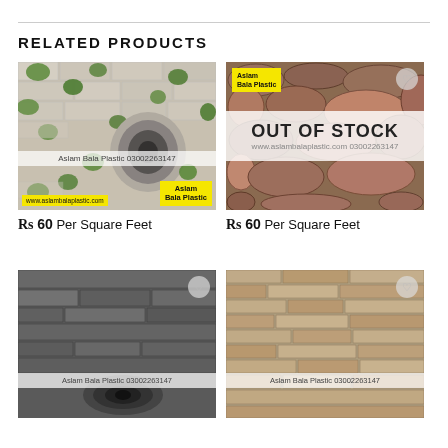RELATED PRODUCTS
[Figure (photo): Rolled wallpaper with white brick and ivy leaf pattern, branded Aslam Bala Plastic]
Rs 60 Per Square Feet
[Figure (photo): Brown stone/rock wall pattern wallpaper, out of stock, branded Aslam Bala Plastic]
Rs 60 Per Square Feet
[Figure (photo): Dark grey wood/stone panel wallpaper roll, branded Aslam Bala Plastic]
[Figure (photo): Beige/tan stacked stone brick wallpaper, branded Aslam Bala Plastic]